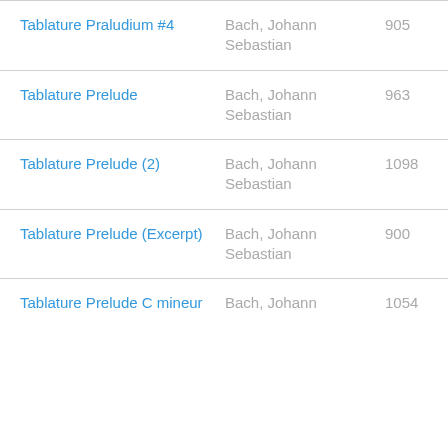| Tablature Praludium #4 | Bach, Johann Sebastian | 905 | gp3 |
| Tablature Prelude | Bach, Johann Sebastian | 963 | gp3 |
| Tablature Prelude (2) | Bach, Johann Sebastian | 1098 | gp3 |
| Tablature Prelude (Excerpt) | Bach, Johann Sebastian | 900 | gp3 |
| Tablature Prelude C mineur | Bach, Johann | 1054 | gp3 |